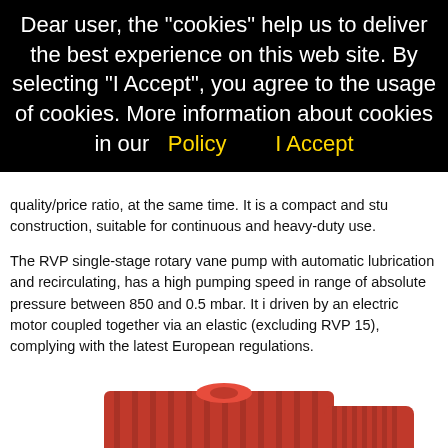Dear user, the "cookies" help us to deliver the best experience on this web site. By selecting "I Accept", you agree to the usage of cookies. More information about cookies in our  Policy        I Accept
quality/price ratio, at the same time. It is a compact and sturdy construction, suitable for continuous and heavy-duty use.
The RVP single-stage rotary vane pump with automatic lubrication and recirculating, has a high pumping speed in range of absolute pressure between 850 and 0.5 mbar. It is driven by an electric motor coupled together via an elastic (excluding RVP 15), complying with the latest European regulations.
[Figure (photo): Red rotary vane vacuum pump (RVP model) — a compact, heavy-duty industrial pump with ribbed casing and electric motor, partially visible at bottom of page.]